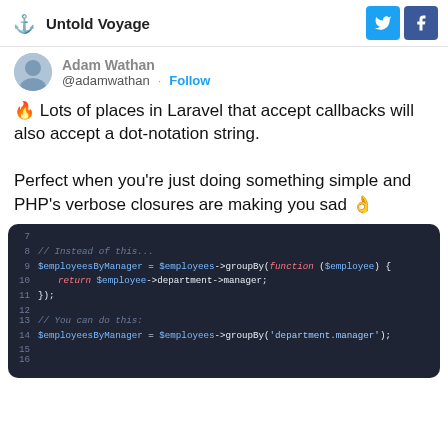Untold Voyage
@adamwathan · Follow
🔥 Lots of places in Laravel that accept callbacks will also accept a dot-notation string.

Perfect when you're just doing something simple and PHP's verbose closures are making you sad 👌
[Figure (screenshot): PHP code block showing Laravel groupBy with a closure versus dot-notation string shorthand]